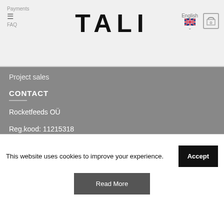Payments FAQ TALI English 0
Project sales
CONTACT
Rocketfeeds OÜ
Reg.kood: 11215318
KMKR: EE101167897
Kotzebue 33, Kalamaja, Tallinn, Eesti
Phone: +372 53806821
This website uses cookies to improve your experience.
Accept
Read More